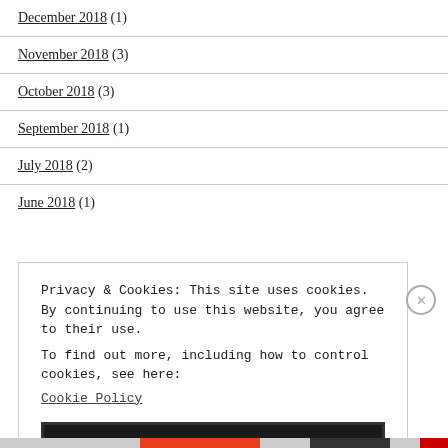December 2018 (1)
November 2018 (3)
October 2018 (3)
September 2018 (1)
July 2018 (2)
June 2018 (1)
Privacy & Cookies: This site uses cookies. By continuing to use this website, you agree to their use.
To find out more, including how to control cookies, see here: Cookie Policy
Close and accept